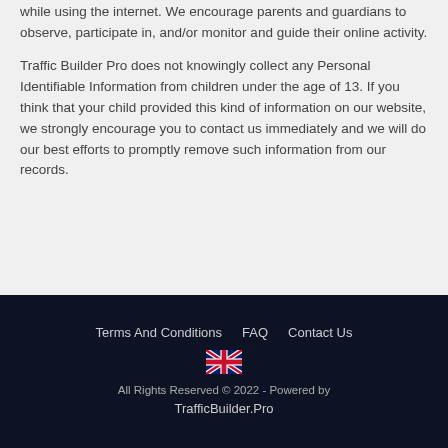while using the internet. We encourage parents and guardians to observe, participate in, and/or monitor and guide their online activity.
Traffic Builder Pro does not knowingly collect any Personal Identifiable Information from children under the age of 13. If you think that your child provided this kind of information on our website, we strongly encourage you to contact us immediately and we will do our best efforts to promptly remove such information from our records.
Terms And Conditions  FAQ  Contact Us
All Rights Reserved © 2022 - Powered by TrafficBuilder.Pro